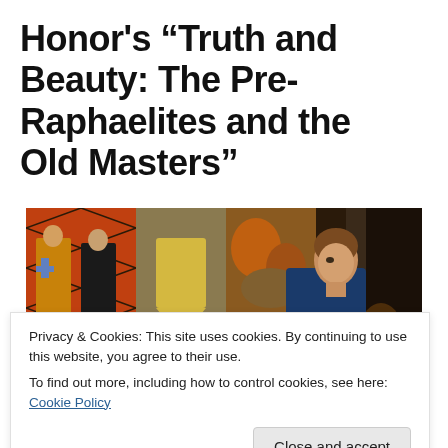Honor's "Truth and Beauty: The Pre-Raphaelites and the Old Masters"
[Figure (photo): A Pre-Raphaelite painting showing a young person in a blue velvet jacket gazing upward at stained glass windows in a Gothic church interior, with colorful medieval-style windows in red, gold, and blue visible in the background. The figure holds what appears to be a lantern.]
Privacy & Cookies: This site uses cookies. By continuing to use this website, you agree to their use.
To find out more, including how to control cookies, see here: Cookie Policy
Close and accept
[Figure (photo): Bottom strip of another painting, partially visible.]